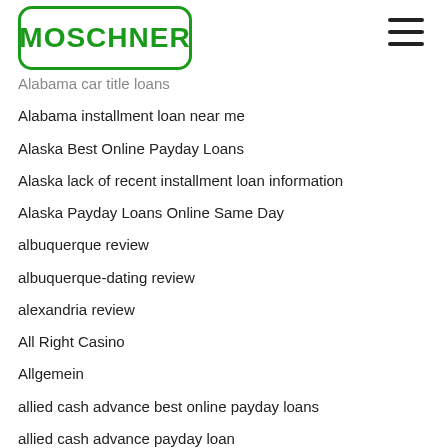MOSCHNER
Alabama car title loans
Alabama installment loan near me
Alaska Best Online Payday Loans
Alaska lack of recent installment loan information
Alaska Payday Loans Online Same Day
albuquerque review
albuquerque-dating review
alexandria review
All Right Casino
Allgemein
allied cash advance best online payday loans
allied cash advance payday loan